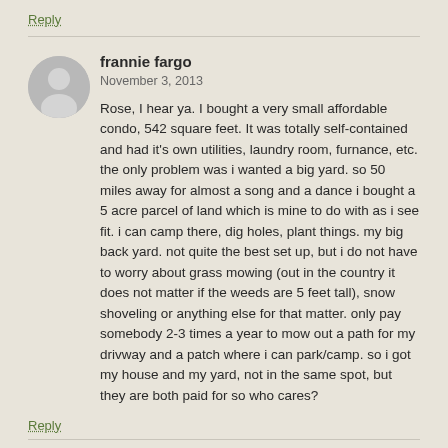Reply
frannie fargo
November 3, 2013
Rose, I hear ya. I bought a very small affordable condo, 542 square feet. It was totally self-contained and had it's own utilities, laundry room, furnance, etc. the only problem was i wanted a big yard. so 50 miles away for almost a song and a dance i bought a 5 acre parcel of land which is mine to do with as i see fit. i can camp there, dig holes, plant things. my big back yard. not quite the best set up, but i do not have to worry about grass mowing (out in the country it does not matter if the weeds are 5 feet tall), snow shoveling or anything else for that matter. only pay somebody 2-3 times a year to mow out a path for my drivway and a patch where i can park/camp. so i got my house and my yard, not in the same spot, but they are both paid for so who cares?
Reply